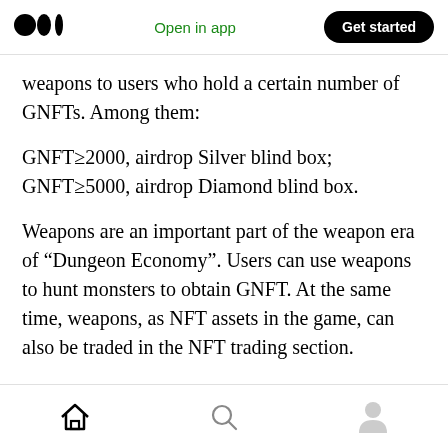Medium logo | Open in app | Get started
weapons to users who hold a certain number of GNFTs. Among them:
GNFT≥2000, airdrop Silver blind box;
GNFT≥5000, airdrop Diamond blind box.
Weapons are an important part of the weapon era of “Dungeon Economy”. Users can use weapons to hunt monsters to obtain GNFT. At the same time, weapons, as NFT assets in the game, can also be traded in the NFT trading section.
Home | Search | Profile